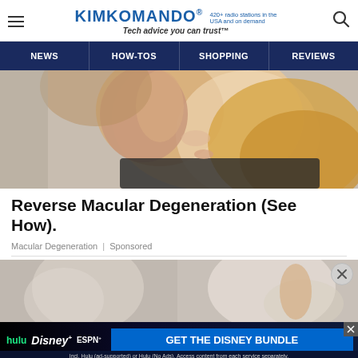KIM KOMANDO® Tech advice you can trust™ | 420+ radio stations in the USA and on demand
NEWS | HOW-TOS | SHOPPING | REVIEWS
[Figure (photo): Close-up photo of a blonde woman covering one eye with her hand]
Reverse Macular Degeneration (See How).
Macular Degeneration | Sponsored
[Figure (photo): Two partial photos side by side showing a person outdoors]
[Figure (other): Disney Bundle advertisement banner: hulu, Disney+, ESPN+ - GET THE DISNEY BUNDLE. Incl. Hulu (ad-supported) or Hulu (No Ads). Access content from each service separately. ©2021 Disney and its related entities.]